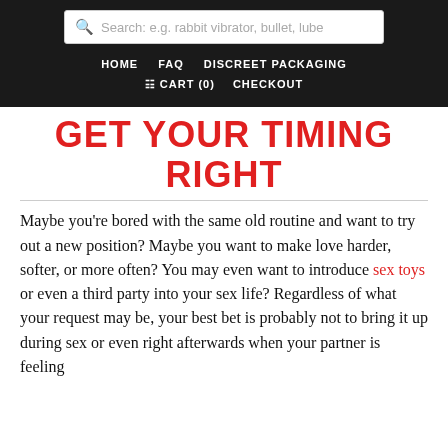Search: e.g. rabbit vibrator, bullet, lube | HOME  FAQ  DISCREET PACKAGING | CART (0)  CHECKOUT
GET YOUR TIMING RIGHT
Maybe you're bored with the same old routine and want to try out a new position? Maybe you want to make love harder, softer, or more often? You may even want to introduce sex toys or even a third party into your sex life? Regardless of what your request may be, your best bet is probably not to bring it up during sex or even right afterwards when your partner is feeling